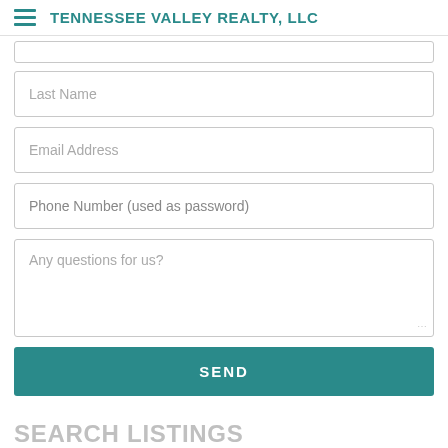TENNESSEE VALLEY REALTY, LLC
[Figure (screenshot): Partially visible input field at top of form (cut off)]
Last Name
Email Address
Phone Number (used as password)
Any questions for us?
SEND
SEARCH LISTINGS